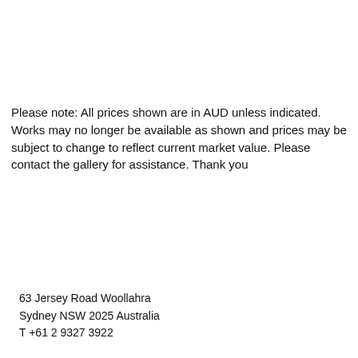Please note: All prices shown are in AUD unless indicated. Works may no longer be available as shown and prices may be subject to change to reflect current market value. Please contact the gallery for assistance. Thank you
63 Jersey Road Woollahra
Sydney NSW 2025 Australia
T +61 2 9327 3922